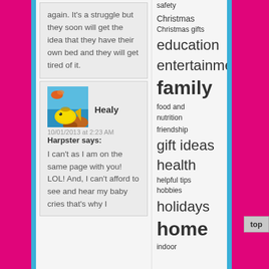again. It's a struggle but they soon will get the idea that they have their own bed and they will get tired of it.
[Figure (photo): Avatar image of tropical fish (yellow fish with ocean background)]
Healy
10/01/2013 at 2:23 AM
Harpster says:
I can't as I am on the same page with you! LOL! And, I can't afford to see and hear my baby cries that's why I
safety
Christmas
Christmas gifts
education
entertainment
family
food and nutrition
friendship
gift ideas
health
helpful tips
hobbies
holidays
home
indoor